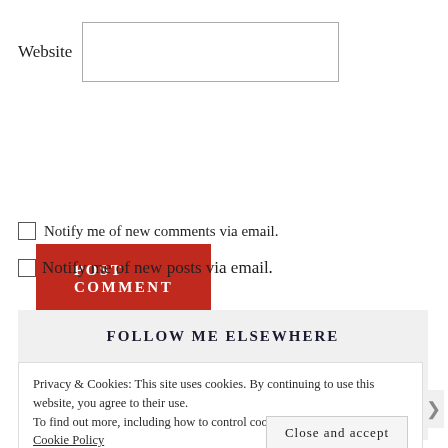Website
POST COMMENT
Notify me of new comments via email.
Notify me of new posts via email.
FOLLOW ME ELSEWHERE
Privacy & Cookies: This site uses cookies. By continuing to use this website, you agree to their use.
To find out more, including how to control cookies, see here: Cookie Policy
Close and accept